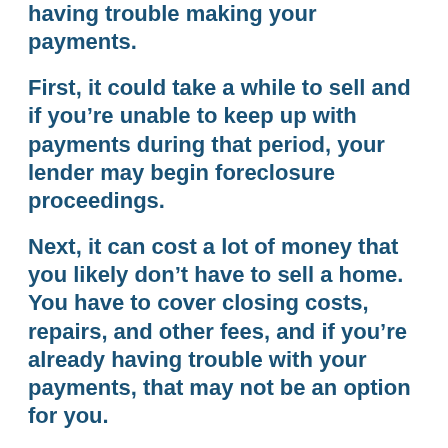having trouble making your payments.
First, it could take a while to sell and if you’re unable to keep up with payments during that period, your lender may begin foreclosure proceedings.
Next, it can cost a lot of money that you likely don’t have to sell a home. You have to cover closing costs, repairs, and other fees, and if you’re already having trouble with your payments, that may not be an option for you.
Opt for a Cash Buyer
Cash buyers, often known as professional home buyers, are a